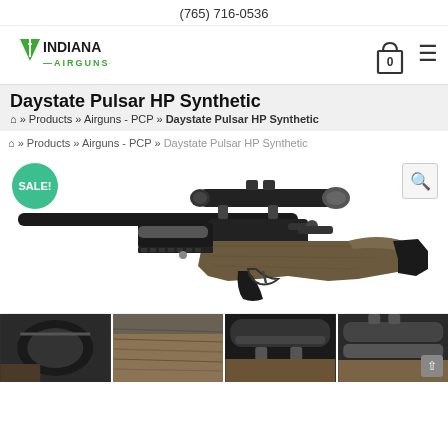(765) 716-0536
[Figure (logo): Indiana Airguns logo with green triangle/arrow icon and text INDIANA AIRGUNS]
Daystate Pulsar HP Synthetic
» Products » Airguns - PCP » Daystate Pulsar HP Synthetic
» Products » Airguns - PCP » Daystate Pulsar HP Synthetic
[Figure (photo): Daystate Pulsar HP Synthetic air rifle with scope, shown in profile view with wooden/synthetic stock and long barrel. SALE! badge visible in top left corner.]
[Figure (photo): Four product thumbnail images showing close-up details of the Daystate Pulsar HP Synthetic airgun]